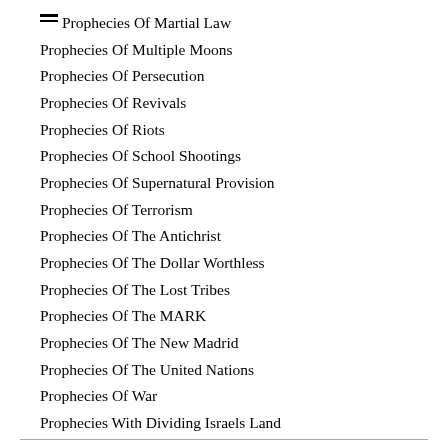Prophecies Of Martial Law
Prophecies Of Multiple Moons
Prophecies Of Persecution
Prophecies Of Revivals
Prophecies Of Riots
Prophecies Of School Shootings
Prophecies Of Supernatural Provision
Prophecies Of Terrorism
Prophecies Of The Antichrist
Prophecies Of The Dollar Worthless
Prophecies Of The Lost Tribes
Prophecies Of The MARK
Prophecies Of The New Madrid
Prophecies Of The United Nations
Prophecies Of War
Prophecies With Dividing Israels Land